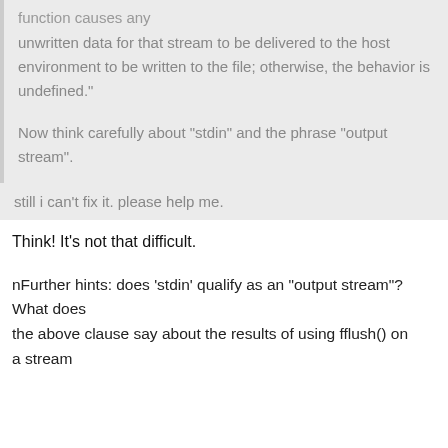function causes any unwritten data for that stream to be delivered to the host environment to be written to the file; otherwise, the behavior is undefined."
Now think carefully about "stdin" and the phrase "output stream".
still i can't fix it. please help me.
Think! It's not that difficult.
nFurther hints: does 'stdin' qualify as an "output stream"? What does the above clause say about the results of using fflush() on a stream